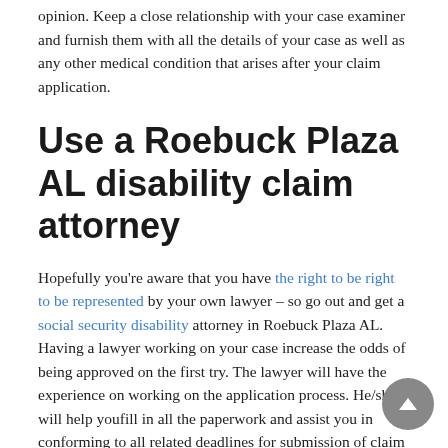opinion. Keep a close relationship with your case examiner and furnish them with all the details of your case as well as any other medical condition that arises after your claim application.
Use a Roebuck Plaza AL disability claim attorney
Hopefully you're aware that you have the right to be right to be represented by your own lawyer – so go out and get a social security disability attorney in Roebuck Plaza AL. Having a lawyer working on your case increase the odds of being approved on the first try. The lawyer will have the experience on working on the application process. He/she will help youfill in all the paperwork and assist you in conforming to all related deadlines for submission of claim details. It will be the work of your lawyer to work directly with your examiner on the case,